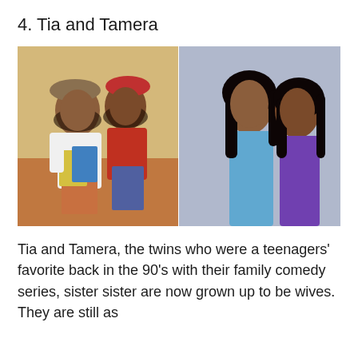4. Tia and Tamera
[Figure (photo): Side-by-side comparison photo: left side shows Tia and Tamera as children/teenagers wearing hats and holding books; right side shows them as adult women, one in a blue top and one in a purple dress, posed back-to-back.]
Tia and Tamera, the twins who were a teenagers' favorite back in the 90's with their family comedy series, sister sister are now grown up to be wives. They are still as